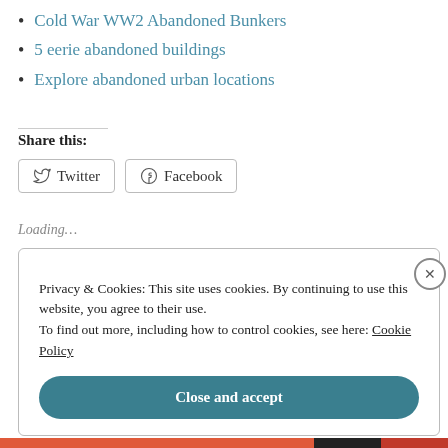Cold War WW2 Abandoned Bunkers
5 eerie abandoned buildings
Explore abandoned urban locations
Share this:
Twitter  Facebook
Loading...
Privacy & Cookies: This site uses cookies. By continuing to use this website, you agree to their use. To find out more, including how to control cookies, see here: Cookie Policy
Close and accept